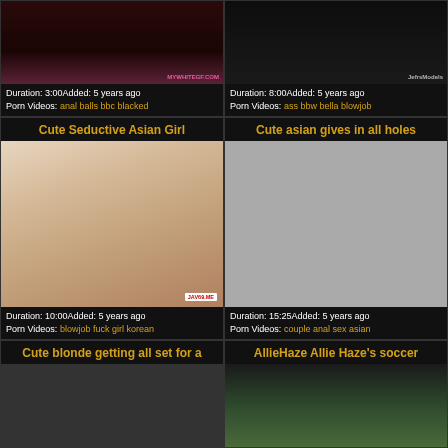[Figure (photo): Video thumbnail dark/pink background with watermark MYWHITEGF.COM]
Duration: 3:00Added: 5 years ago
Porn Videos: anal balls bbc blacked
[Figure (photo): Video thumbnail dark background with JefrsModels watermark]
Duration: 8:00Added: 5 years ago
Porn Videos: ass bbw bella blowjob
Cute Seductive Asian Girl
[Figure (photo): Asian girl in underwear, watermark JAV69.ME]
Duration: 10:00Added: 5 years ago
Porn Videos: blowjob fuck girl korean
Cute asian gives in all holes
[Figure (photo): Gray placeholder thumbnail]
Duration: 15:25Added: 5 years ago
Porn Videos: couple anal sex asian
Cute blonde getting all set for a
[Figure (photo): Dark thumbnail partial view]
AllieHaze Allie Haze's soccer
[Figure (photo): Outdoor scene partial thumbnail]